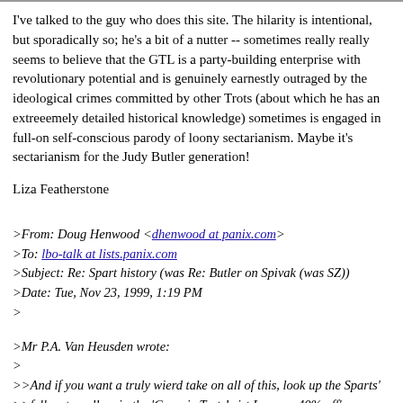I've talked to the guy who does this site. The hilarity is intentional, but sporadically so; he's a bit of a nutter -- sometimes really really seems to believe that the GTL is a party-building enterprise with revolutionary potential and is genuinely earnestly outraged by the ideological crimes committed by other Trots (about which he has an extreeemely detailed historical knowledge) sometimes is engaged in full-on self-conscious parody of loony sectarianism. Maybe it's sectarianism for the Judy Butler generation!
Liza Featherstone
>From: Doug Henwood <dhenwood at panix.com>
>To: lbo-talk at lists.panix.com
>Subject: Re: Spart history (was Re: Butler on Spivak (was SZ))
>Date: Tue, Nov 23, 1999, 1:19 PM
>
>Mr P.A. Van Heusden wrote:
>
>>And if you want a truly wierd take on all of this, look up the Sparts'
>>fellow travellers in the 'Generic Trotskyist League, 40% off'.
>